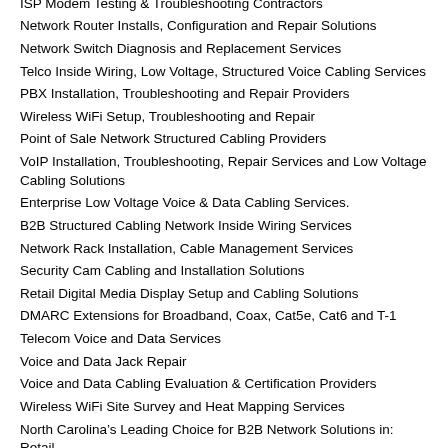Cat5e and Cat6 Network Cabling Setup and Repair
ISP Modem Testing & Troubleshooting Contractors
Network Router Installs, Configuration and Repair Solutions
Network Switch Diagnosis and Replacement Services
Telco Inside Wiring, Low Voltage, Structured Voice Cabling Services
PBX Installation, Troubleshooting and Repair Providers
Wireless WiFi Setup, Troubleshooting and Repair
Point of Sale Network Structured Cabling Providers
VoIP Installation, Troubleshooting, Repair Services and Low Voltage Cabling Solutions
Enterprise Low Voltage Voice & Data Cabling Services.
B2B Structured Cabling Network Inside Wiring Services
Network Rack Installation, Cable Management Services
Security Cam Cabling and Installation Solutions
Retail Digital Media Display Setup and Cabling Solutions
DMARC Extensions for Broadband, Coax, Cat5e, Cat6 and T-1
Telecom Voice and Data Services
Voice and Data Jack Repair
Voice and Data Cabling Evaluation & Certification Providers
Wireless WiFi Site Survey and Heat Mapping Services
North Carolina's Leading Choice for B2B Network Solutions in: Retail
Hospitality
Industrial